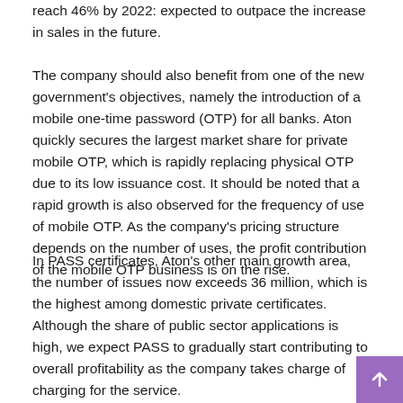reach 46% by 2022: expected to outpace the increase in sales in the future.
The company should also benefit from one of the new government's objectives, namely the introduction of a mobile one-time password (OTP) for all banks. Aton quickly secures the largest market share for private mobile OTP, which is rapidly replacing physical OTP due to its low issuance cost. It should be noted that a rapid growth is also observed for the frequency of use of mobile OTP. As the company's pricing structure depends on the number of uses, the profit contribution of the mobile OTP business is on the rise.
In PASS certificates, Aton's other main growth area, the number of issues now exceeds 36 million, which is the highest among domestic private certificates. Although the share of public sector applications is high, we expect PASS to gradually start contributing to overall profitability as the company takes charge of charging for the service.